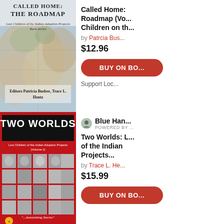[Figure (photo): Book cover for 'Called Home: The Roadmap' - Lost Children of the Indian Adoption Projects Book Series, Editors Patricia Busbee, Trace L. Hentz. Cover shows a map of the United States.]
Called Home: Roadmap (Vo... Children of th...
by Patrcia Bus...
$12.96
BUY ON BO...
Support Loc...
[Figure (photo): Book cover for 'Two Worlds: Lost Children of the Indian Adoption Projects (Volume 1)' - Red cover with 'TWO WORLDS' in large white text, grid of black-and-white children's photos, tagline '...Astonishing Stories']
Blue Han... POWERED BY ...
Two Worlds: L... of the Indian Projects...
by Trace L. He...
$15.99
BUY ON BO...